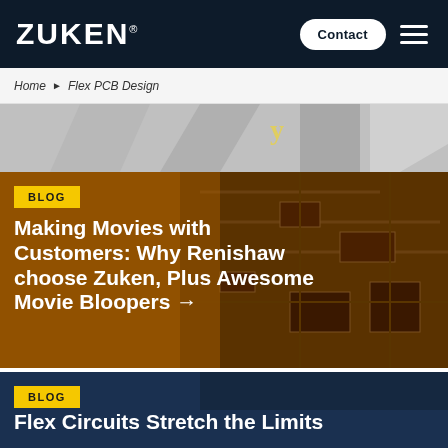ZUKEN® | Contact
Home ▶ Flex PCB Design
[Figure (photo): Partial view of a PCB or industrial image strip, grey tones, top of the page below breadcrumb]
[Figure (photo): Blog card with amber/orange-brown background — PCB circuitry visible in the background. Contains BLOG tag and article title.]
Making Movies with Customers: Why Renishaw choose Zuken, Plus Awesome Movie Bloopers →
[Figure (photo): Blog card with dark navy blue background. Contains BLOG tag and partial article title.]
Flex Circuits Stretch the Limits